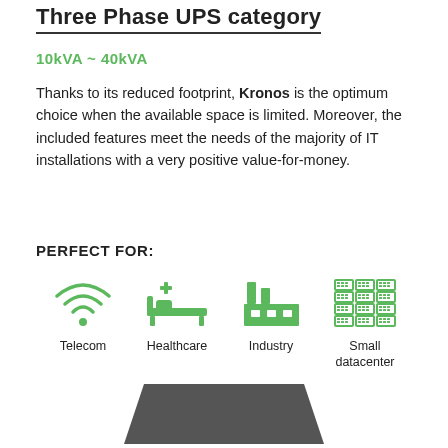Three Phase UPS category
10kVA ~ 40kVA
Thanks to its reduced footprint, Kronos is the optimum choice when the available space is limited. Moreover, the included features meet the needs of the majority of IT installations with a very positive value-for-money.
PERFECT FOR:
[Figure (infographic): Four green icons representing application categories: Telecom (WiFi signal icon), Healthcare (hospital bed with cross icon), Industry (factory/chimney icon), Small datacenter (server rack icon), each with label beneath.]
[Figure (photo): Partial view of a dark grey UPS device (trapezoid shape) visible at the bottom of the page.]